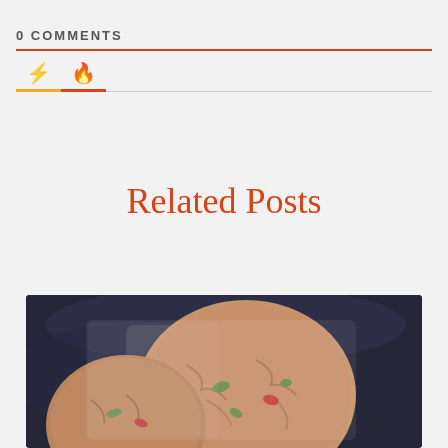0 COMMENTS
[Figure (other): Tab bar with lightning bolt icon (orange) and flame icon (red-orange), with orange underline under bolt tab and red-orange underline under flame tab]
Related Posts
[Figure (photo): Close-up photo of cookies (possibly pistachio or nut cookies) on a dark background, partially in a clear plastic bag]